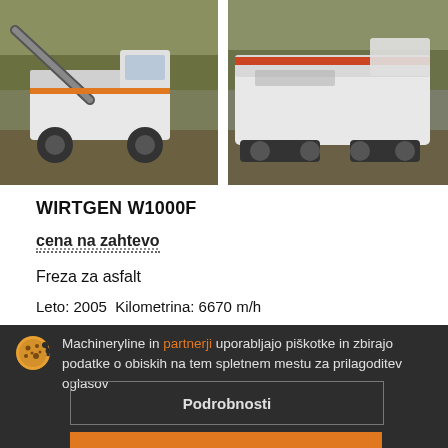[Figure (photo): Two construction milling/paving machines outdoors in autumn setting. Left photo shows a Wirtgen milling machine with conveyor belt, right photo shows another large milling/paving machine.]
WIRTGEN W1000F
cena na zahtevo
Freza za asfalt
Leto: 2005  Kilometrina: 6670 m/h
Machineryline in partnerji uporabljajo piškotke in zbirajo podatke o obiskih na tem spletnem mestu za prilagoditev oglasov
Podrobnosti
Sprejmi in zapri